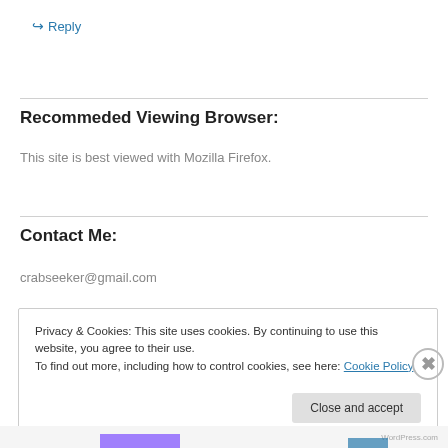↵ Reply
Recommeded Viewing Browser:
This site is best viewed with Mozilla Firefox.
Contact Me:
crabseeker@gmail.com
Privacy & Cookies: This site uses cookies. By continuing to use this website, you agree to their use.
To find out more, including how to control cookies, see here: Cookie Policy
Close and accept